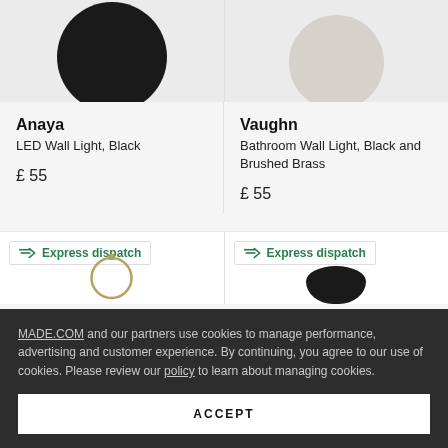[Figure (photo): Anaya LED Wall Light in Black, partially cropped product photo showing dark spherical fixture]
[Figure (photo): Vaughn Bathroom Wall Light, Black and Brushed Brass, partially cropped showing globe bulb]
Anaya
LED Wall Light, Black
£ 55
Vaughn
Bathroom Wall Light, Black and Brushed Brass
£ 55
[Figure (photo): Express dispatch badge with truck icon; partial product image of ring/hoop pendant]
[Figure (photo): Express dispatch badge with truck icon; partial product image of dark bowl]
MADE.COM and our partners use cookies to manage performance, advertising and customer experience. By continuing, you agree to our use of cookies. Please review our policy to learn about managing cookies.
ACCEPT